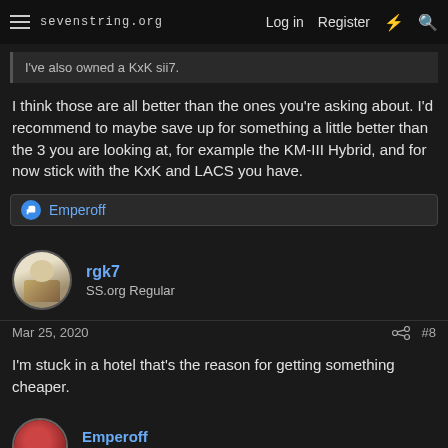sevenstring.org — Log in  Register
I've also owned a KxK sii7.
I think those are all better than the ones you're asking about. I'd recommend to maybe save up for something a little better than the 3 you are looking at, for example the KM-III Hybrid, and for now stick with the KxK and LACS you have.
Emperoff
rgk7
SS.org Regular
Mar 25, 2020  #8
I'm stuck in a hotel that's the reason for getting something cheaper.
Emperoff
Notarizing 5150